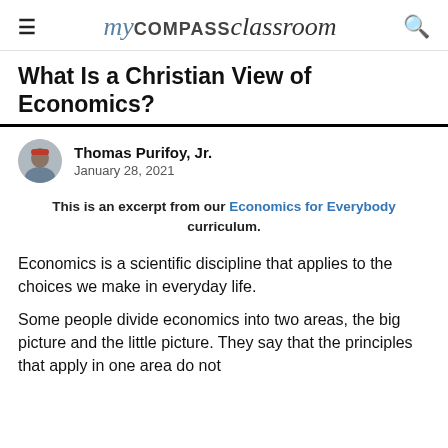my COMPASS classroom
What Is a Christian View of Economics?
Thomas Purifoy, Jr.
January 28, 2021
This is an excerpt from our Economics for Everybody curriculum.
Economics is a scientific discipline that applies to the choices we make in everyday life.
Some people divide economics into two areas, the big picture and the little picture. They say that the principles that apply in one area do not apply in the other.